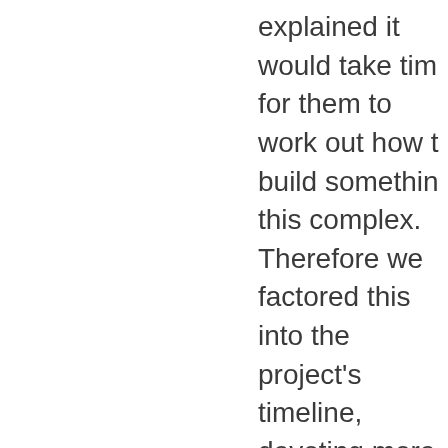explained it would take time for them to work out how to build something this complex. Therefore we factored this into the project's timeline, devoting more time implementation